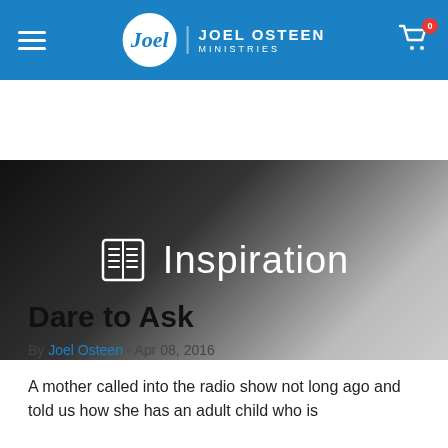Joel Osteen Ministries
[Figure (screenshot): Hero banner with dark-to-light gradient background, a document/columns icon, and the word 'Inspiration' in white text]
Dare to Ask
By Joel Osteen - Apr 08, 2016
A mother called into the radio show not long ago and told us how she has an adult child who is